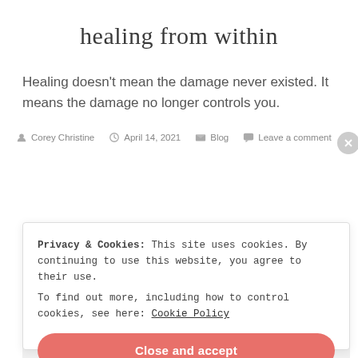healing from within
Healing doesn’t mean the damage never existed. It means the damage no longer controls you.
By Corey Christine  •  April 14, 2021  •  Blog  •  Leave a comment
Privacy & Cookies: This site uses cookies. By continuing to use this website, you agree to their use.
To find out more, including how to control cookies, see here: Cookie Policy
Close and accept